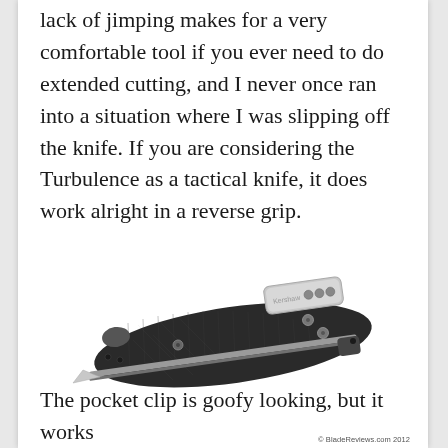lack of jimping makes for a very comfortable tool if you ever need to do extended cutting, and I never once ran into a situation where I was slipping off the knife. If you are considering the Turbulence as a tactical knife, it does work alright in a reverse grip.
[Figure (photo): A folded Kershaw Turbulence pocket knife with black G10 handle scales and a silver stainless steel pocket clip, photographed on a white background. The knife is closed with a small portion of the blade visible at the bottom.]
© BladeReviews.com 2012
The pocket clip is goofy looking, but it works